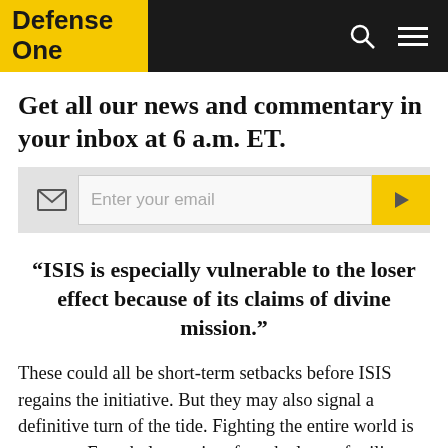Defense One
Get all our news and commentary in your inbox at 6 a.m. ET.
[Figure (other): Email newsletter signup bar with envelope icon, email input field, and yellow submit arrow button]
“ISIS is especially vulnerable to the loser effect because of its claims of divine mission.”
These could all be short-term setbacks before ISIS regains the initiative. But they may also signal a definitive turn of the tide. Fighting the entire world is not easy. Even holy warriors face the laws of military